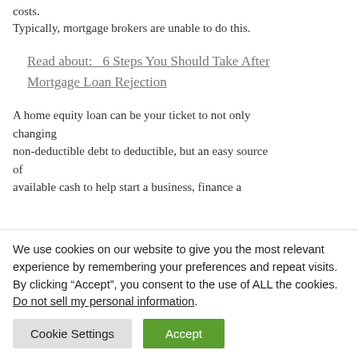costs.
Typically, mortgage brokers are unable to do this.
Read about:   6 Steps You Should Take After Mortgage Loan Rejection
A home equity loan can be your ticket to not only changing
non-deductible debt to deductible, but an easy source of
available cash to help start a business, finance a
We use cookies on our website to give you the most relevant experience by remembering your preferences and repeat visits. By clicking “Accept”, you consent to the use of ALL the cookies.
Do not sell my personal information.